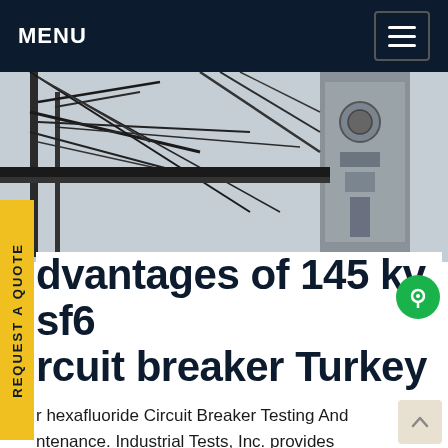MENU
[Figure (photo): Black and white photo of electrical transmission tower and industrial equipment against a grey sky]
dvantages of 145 kv sf6 rcuit breaker Turkey
r hexafluoride Circuit Breaker Testing And ntenance. Industrial Tests, Inc. provides nprehensive Sf6 Testing services as part of our ctrical Testing and Maintenance services. We form Sf6 Testing for industrial plants, large commercial facilities and municipal power stations. We are available 24 hours a day, seven days a week and are maintenanceGet price